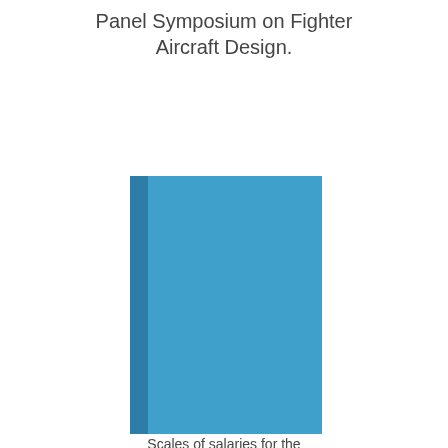Panel Symposium on Fighter Aircraft Design.
[Figure (illustration): A vertically-oriented blue book or report cover with a darker blue spine on the left side, depicted against a white background.]
Scales of salaries for the